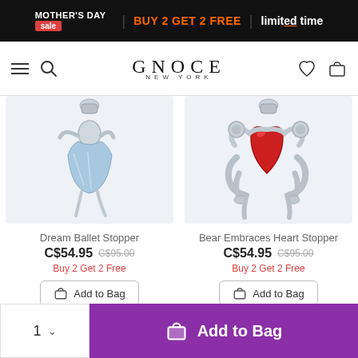MOTHER'S DAY sale | BUY 2 GET 2 FREE | limited time
[Figure (logo): GNOCE NEW YORK logo]
[Figure (photo): Dream Ballet Stopper charm - silver charm with light blue ballet dancer figure]
Dream Ballet Stopper
C$54.95  C$95.00
Buy 2 Get 2 Free
Add to Bag
[Figure (photo): Bear Embraces Heart Stopper charm - silver bear holding red heart charm]
Bear Embraces Heart Stopper
C$54.95  C$95.00
Buy 2 Get 2 Free
Add to Bag
1 ∨  Add to Bag